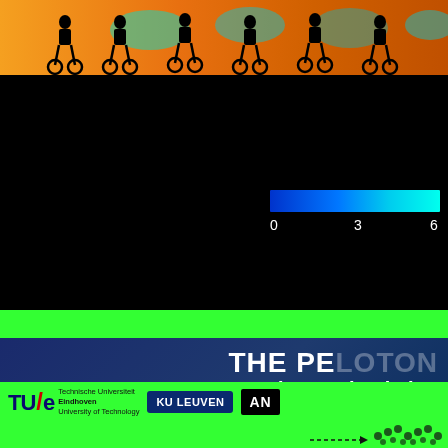[Figure (other): CFD simulation image showing cyclists in a peloton with velocity/pressure field visualization. Top portion shows orange/warm colors with silhouettes of cyclists. Bottom portion is black with a color scale bar ranging from blue (0) to cyan (6), indicating velocity magnitude.]
THE PE... A Record CFD Simulati...
[Figure (logo): TU/e (Technische Universiteit Eindhoven, University of Technology) logo, KU LEUVEN logo, and ANSYS partial logo on a bright green background]